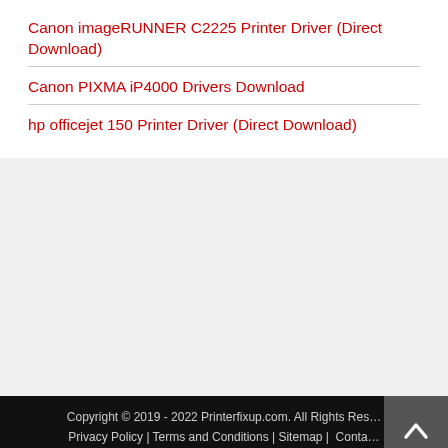Canon imageRUNNER C2225 Printer Driver (Direct Download)
Canon PIXMA iP4000 Drivers Download
hp officejet 150 Printer Driver (Direct Download)
Copyright © 2019 - 2022 Printerfixup.com. All Rights Reserved  Privacy Policy | Terms and Conditions | Sitemap | Contact